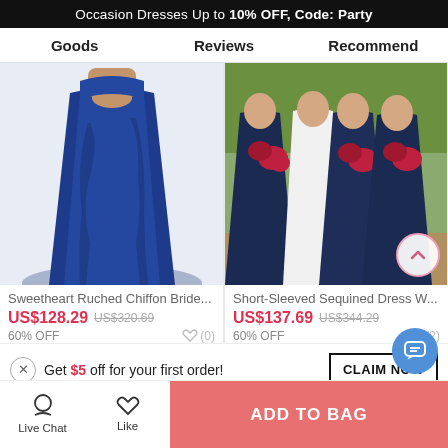Occasion Dresses Up to 10% OFF, Code: Party
Goods   Reviews   Recommend
[Figure (photo): Blue chiffon bridesmaid dress, lower half view showing flowing skirt]
[Figure (photo): Group of bridesmaids in dark blue sequined dresses holding red bouquets]
Sweetheart Ruched Chiffon Bride...
US$128.29  US$320.69
60% OFF
Short-Sleeved Sequined Dress W...
US$137.69  US$344.29
60% OFF
Get $5 off for your first order!
CLAIM NOW
Live Chat   Like   ADD TO BAG